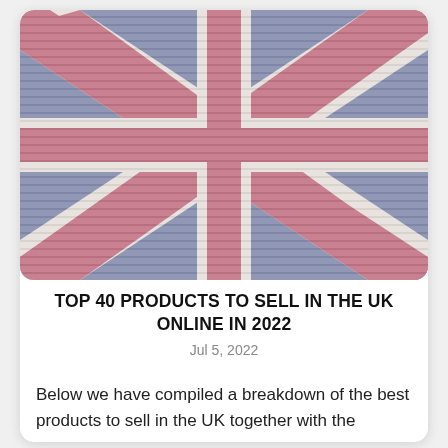[Figure (illustration): A stylized Union Jack (UK flag) with a textured, cushioned look. The flag features the characteristic red cross, diagonal red stripes, and blue quadrants, all rendered with a soft three-dimensional horizontal-stripe texture in muted pink/red, white, and blue-grey tones.]
TOP 40 PRODUCTS TO SELL IN THE UK ONLINE IN 2022
Jul 5, 2022
Below we have compiled a breakdown of the best products to sell in the UK together with the